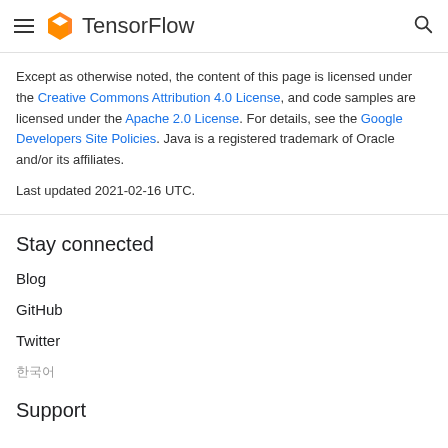TensorFlow
Except as otherwise noted, the content of this page is licensed under the Creative Commons Attribution 4.0 License, and code samples are licensed under the Apache 2.0 License. For details, see the Google Developers Site Policies. Java is a registered trademark of Oracle and/or its affiliates.
Last updated 2021-02-16 UTC.
Stay connected
Blog
GitHub
Twitter
한국어
Support